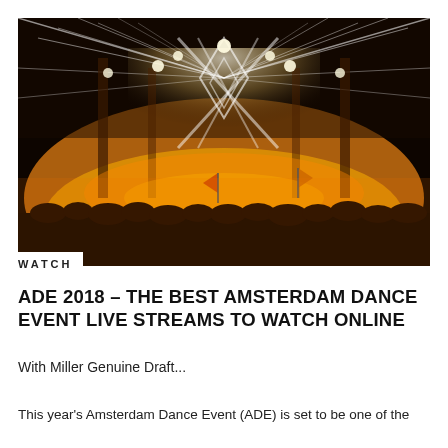[Figure (photo): Concert photo of Amsterdam Dance Event (ADE) 2018 stage with dramatic crossing laser light beams in white and golden tones, crowd silhouettes in foreground waving flags, stage illuminated with intense orange and golden light.]
WATCH
ADE 2018 – THE BEST AMSTERDAM DANCE EVENT LIVE STREAMS TO WATCH ONLINE
With Miller Genuine Draft...
This year's Amsterdam Dance Event (ADE) is set to be one of the